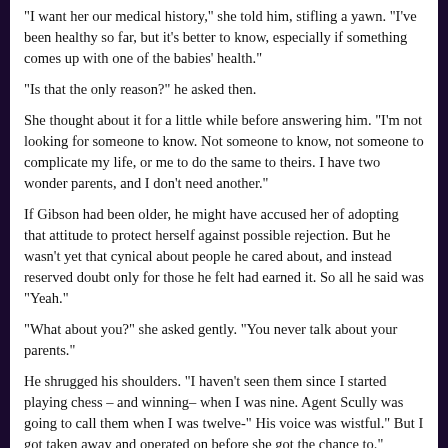"I want her our medical history," she told him, stifling a yawn. "I've been healthy so far, but it's better to know, especially if something comes up with one of the babies' health."
"Is that the only reason?" he asked then.
She thought about it for a little while before answering him. "I'm not looking for someone to know. Not someone to know, not someone to complicate my life, or me to do the same to theirs. I have two wonder parents, and I don't need another."
If Gibson had been older, he might have accused her of adopting that attitude to protect herself against possible rejection. But he wasn't yet that cynical about people he cared about, and instead reserved doubt only for those he felt had earned it. So all he said was "Yeah."
"What about you?" she asked gently. "You never talk about your parents."
He shrugged his shoulders. "I haven't seen them since I started playing chess – and winning– when I was nine. Agent Scully was going to call them when I was twelve-" His voice was wistful." But I got taken away and operated on before she got the chance to."
"You didn't know when she called?" Someone had...